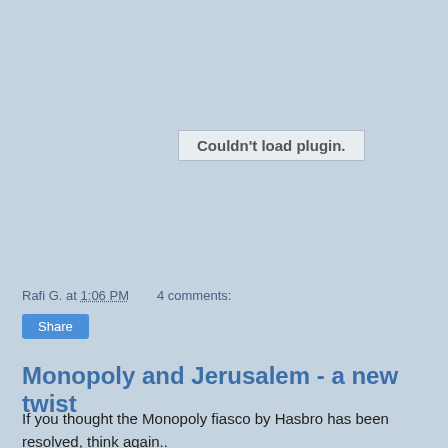[Figure (other): Plugin placeholder area showing 'Couldn't load plugin.' message in a light gray box]
Rafi G. at 1:06 PM    4 comments:
Share
Monopoly and Jerusalem - a new twist
If you thought the Monopoly fiasco by Hasbro has been resolved, think again..